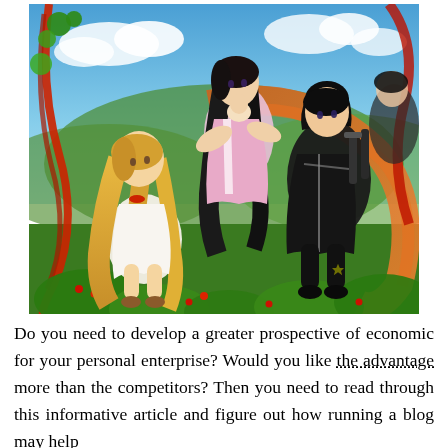[Figure (illustration): Anime illustration showing multiple characters from Sword Art Online in a dynamic outdoor scene with green foliage, blue sky, and red swirling elements. Characters include a blonde girl in white crouching at lower left, a dark-haired girl in pink/white kimono in the center, and a male character in black outfit at the right.]
Do you need to develop a greater prospective of economic for your personal enterprise? Would you like the advantage more than the competitors? Then you need to read through this informative article and figure out how running a blog may help